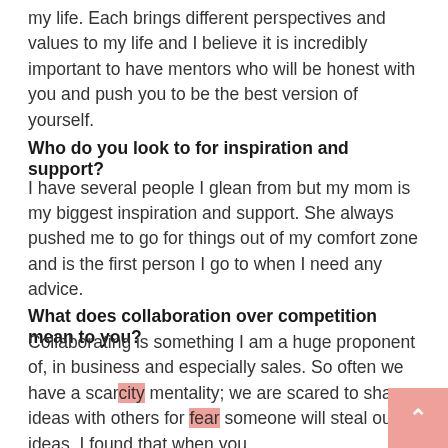my life. Each brings different perspectives and values to my life and I believe it is incredibly important to have mentors who will be honest with you and push you to be the best version of yourself.
Who do you look to for inspiration and support?
I have several people I glean from but my mom is my biggest inspiration and support. She always pushed me to go for things out of my comfort zone and is the first person I go to when I need any advice.
What does collaboration over competition mean to you?
Collaborating is something I am a huge proponent of, in business and especially sales. So often we have a scarcity mentality; we are scared to share ideas with others for fear someone will steal our ideas. I found that when you